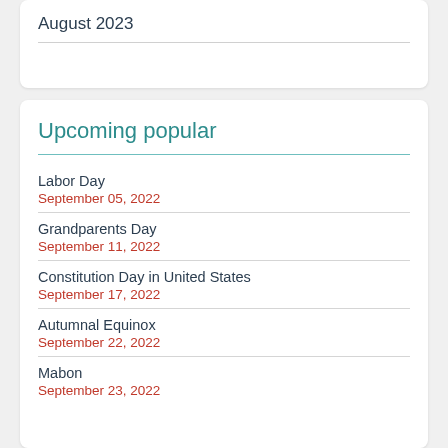August 2023
Upcoming popular
Labor Day
September 05, 2022
Grandparents Day
September 11, 2022
Constitution Day in United States
September 17, 2022
Autumnal Equinox
September 22, 2022
Mabon
September 23, 2022